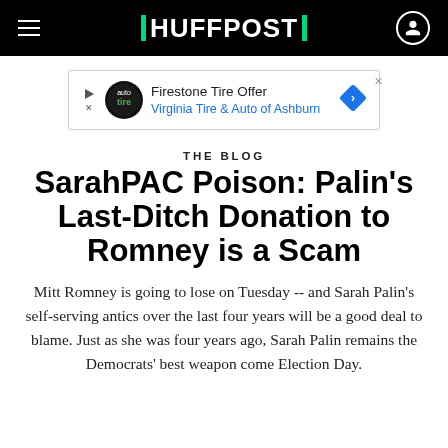HUFFPOST
[Figure (other): Advertisement banner for Firestone Tire Offer - Virginia Tire & Auto of Ashburn]
THE BLOG
SarahPAC Poison: Palin's Last-Ditch Donation to Romney is a Scam
Mitt Romney is going to lose on Tuesday -- and Sarah Palin's self-serving antics over the last four years will be a good deal to blame. Just as she was four years ago, Sarah Palin remains the Democrats' best weapon come Election Day.